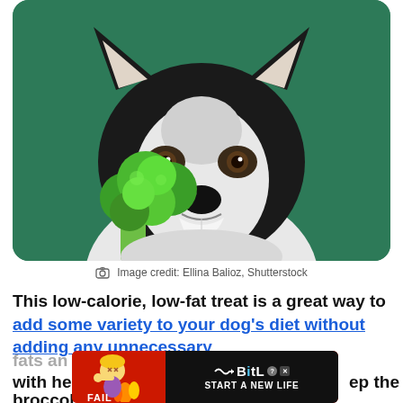[Figure (photo): A husky dog holding a large piece of broccoli in its mouth, photographed against a teal/dark green background. The dog looks directly at the camera with alert ears.]
Image credit: Ellina Balioz, Shutterstock
This low-calorie, low-fat treat is a great way to add some variety to your dog’s diet without adding any unnecessary fats an… them with he… ep the broccol… ntal
[Figure (other): Advertisement banner for BitLife game. Red left side with cartoon fail animation (blonde character with flames and 'FAIL' text). Black right side with BitLife logo (question mark and X badges) and text 'START A NEW LIFE'.]